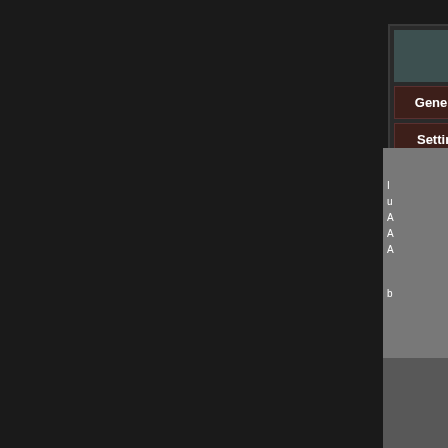[Figure (screenshot): Navigation table UI fragment showing a dark-themed wiki navigation box with rows for General, Setting, and Organizations categories. General row links to Setting (highlighted gold), Characters, Cyberwa... Setting row links to Main, The Collapse... Organizations row links to Main, Busin...]
[Figure (screenshot): Partial image fragment in bottom-right corner showing grey background with white text lines, partially cut off]